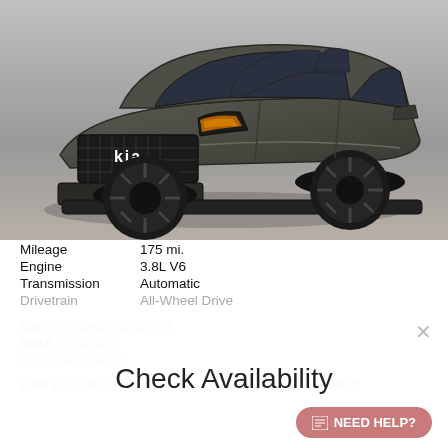[Figure (photo): Photo of a dark gray Kia Telluride SUV parked in a showroom/lot. The vehicle faces forward-left, showing the front grille with the Kia logo, orange-accented headlights, and black alloy wheels. The background is a light gray gradient.]
Mileage	175 mi.
Engine	3.8L V6
Transmission	Automatic
Drivetrain	All-Wheel Drive
VIN 5XYP5DHC2NG303823
Stock NG303823
ACCELERIDE PRICE
Check Availability
Enter your info to receive your AcceleRide Price on this vehicle
NEED HELP?